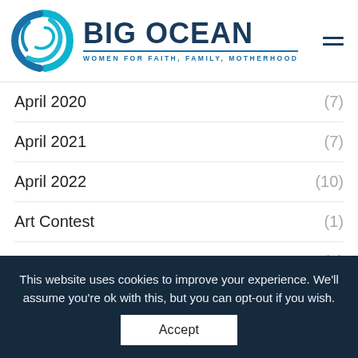[Figure (logo): Big Ocean Women logo — circular swirl in teal/blue, with text BIG OCEAN and subtitle WOMEN FOR FAITH, FAMILY, MOTHERHOOD]
April 2020 (7)
April 2021 (7)
April 2022 (10)
Art Contest (1)
August 2019 (7)
August 2020 (8)
August 2021 (7)
August 2022 (9)
This website uses cookies to improve your experience. We'll assume you're ok with this, but you can opt-out if you wish.
Accept